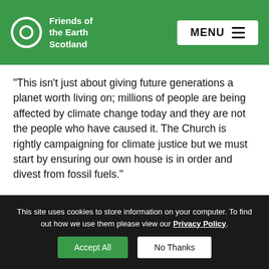Friends of the Earth Scotland | MENU
“This isn’t just about giving future generations a planet worth living on; millions of people are being affected by climate change today and they are not the people who have caused it. The Church is rightly campaigning for climate justice but we must start by ensuring our own house is in order and divest from fossil fuels.”
Ric Lander, Friends of the Earth Scotland said:
This site uses cookies to store information on your computer. To find out how we use them please view our Privacy Policy. Accept All No Thanks